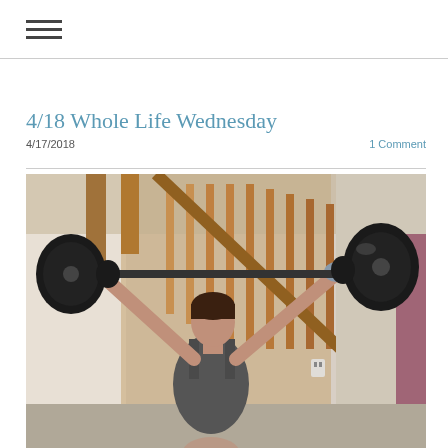≡ (hamburger menu icon)
4/18 Whole Life Wednesday
4/17/2018    1 Comment
[Figure (photo): A woman performing an overhead weightlifting exercise (snatch or clean and jerk) in what appears to be a gym with wooden stair railing in the background. She is wearing a dark tank top and lifting a barbell with large black weight plates overhead.]